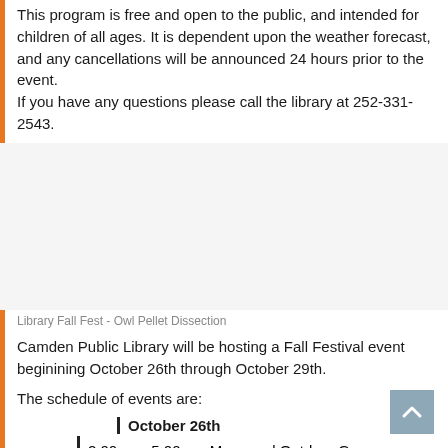This program is free and open to the public, and intended for children of all ages. It is dependent upon the weather forecast, and any cancellations will be announced 24 hours prior to the event. If you have any questions please call the library at 252-331-2543.
Library Fall Fest - Owl Pellet Dissection
Camden Public Library will be hosting a Fall Festival event beginining October 26th through October 29th.
The schedule of events are:
October 26th
2:00pm - 5:00pm: Maze and Outdoor Games
October 27th
2:00pm - 5:00pm: Nature Crafts
3:30pm: Owl Pellet Dissection (Please call to register at 252-331-2543. Space is limited.)